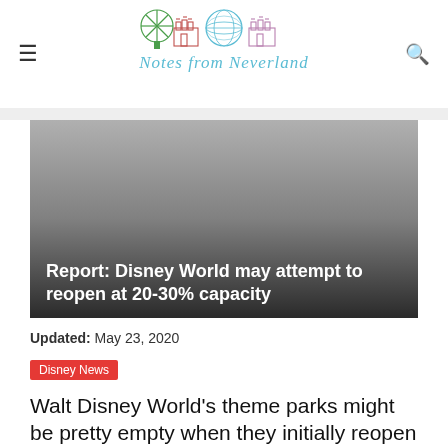Notes from Neverland
[Figure (photo): Dark gradient hero image with text overlay reading 'Report: Disney World may attempt to reopen at 20-30% capacity']
Report: Disney World may attempt to reopen at 20-30% capacity
Updated: May 23, 2020
Disney News
Walt Disney World's theme parks might be pretty empty when they initially reopen